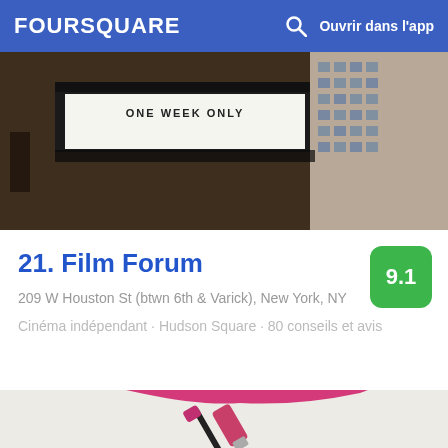FOURSQUARE  Ouvrir dans l'app
[Figure (photo): Photo of a cinema marquee showing 'ONE WEEK ONLY' with a building visible in the background]
21. Film Forum
209 W Houston St (btwn 6th & Varick), New York, NY
Cinéma indépendant · Hudson Square · 80 conseils et avis
[Figure (illustration): Illustration of pink lips with a lip gloss applicator wand]